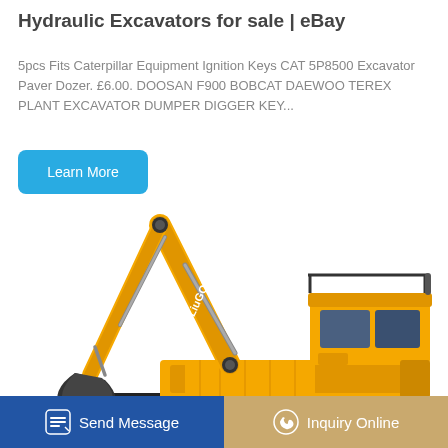Hydraulic Excavators for sale | eBay
5pcs Fits Caterpillar Equipment Ignition Keys CAT 5P8500 Excavator Paver Dozer. £6.00. DOOSAN F900 BOBCAT DAEWOO TEREX PLANT EXCAVATOR DUMPER DIGGER KEY...
Learn More
[Figure (photo): Yellow LiuGong hydraulic excavator on white background]
Send Message
Inquiry Online